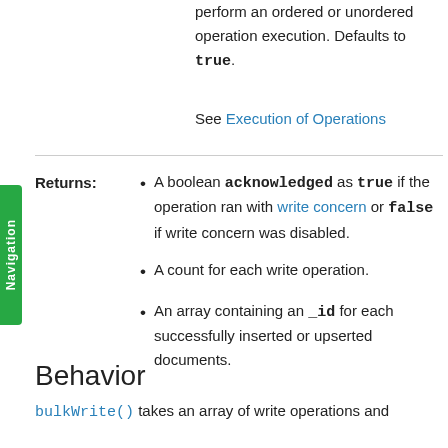perform an ordered or unordered operation execution. Defaults to true.
See Execution of Operations
A boolean acknowledged as true if the operation ran with write concern or false if write concern was disabled.
A count for each write operation.
An array containing an _id for each successfully inserted or upserted documents.
Behavior
bulkWrite() takes an array of write operations and